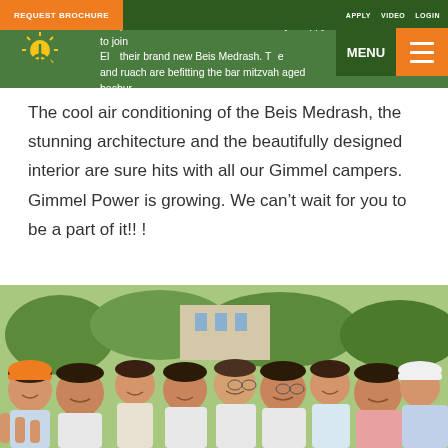REQUEST BROCHURE  APPLY  VIDEO  LOGIN
[Figure (logo): Camp Romimu logo with sun and green text]
some of the many campers. And of course Gimmel is always happy to join Elul... their brand new Beis Medrash. The... and ruach are befitting the bar mitzvah aged bochur.
The cool air conditioning of the Beis Medrash, the stunning architecture and the beautifully designed interior are sure hits with all our Gimmel campers. Gimmel Power is growing. We can't wait for you to be a part of it!! !
[Figure (photo): Group photo of many smiling camp boys outdoors]